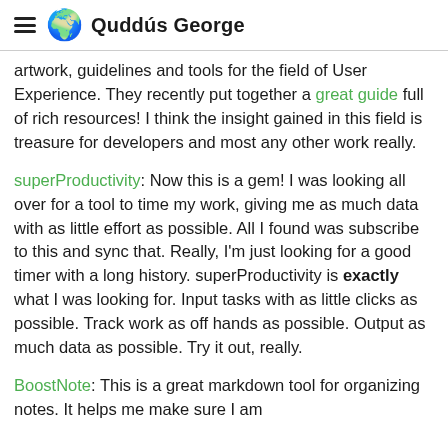Quddús George
artwork, guidelines and tools for the field of User Experience. They recently put together a great guide full of rich resources! I think the insight gained in this field is treasure for developers and most any other work really.
superProductivity: Now this is a gem! I was looking all over for a tool to time my work, giving me as much data with as little effort as possible. All I found was subscribe to this and sync that. Really, I'm just looking for a good timer with a long history. superProductivity is exactly what I was looking for. Input tasks with as little clicks as possible. Track work as off hands as possible. Output as much data as possible. Try it out, really.
BoostNote: This is a great markdown tool for organizing notes. It helps me make sure I am